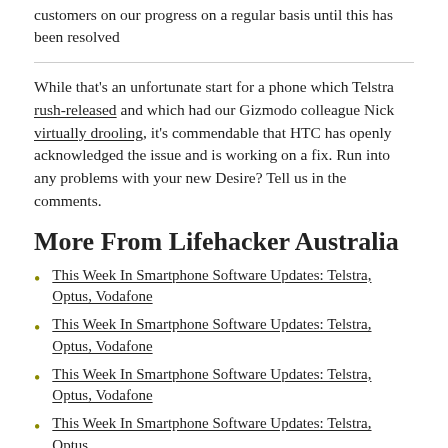customers on our progress on a regular basis until this has been resolved
While that's an unfortunate start for a phone which Telstra rush-released and which had our Gizmodo colleague Nick virtually drooling, it's commendable that HTC has openly acknowledged the issue and is working on a fix. Run into any problems with your new Desire? Tell us in the comments.
More From Lifehacker Australia
This Week In Smartphone Software Updates: Telstra, Optus, Vodafone
This Week In Smartphone Software Updates: Telstra, Optus, Vodafone
This Week In Smartphone Software Updates: Telstra, Optus, Vodafone
This Week In Smartphone Software Updates: Telstra, Optus,